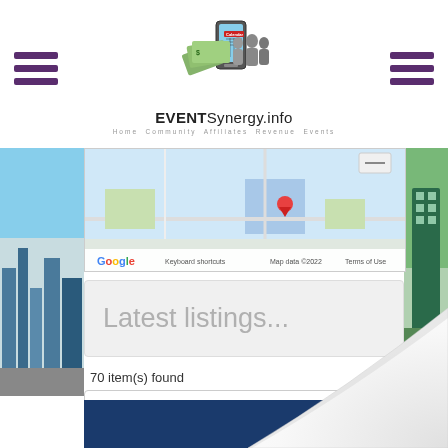EVENTSynergy.info — Home Community Affiliates Revenue Events
[Figure (map): Google Maps embed showing a location, with Google logo, Keyboard shortcuts, Map data ©2022, Terms of Use labels at bottom]
Latest listings...
70 item(s) found
Recently added ( latest )
List
Contact Us